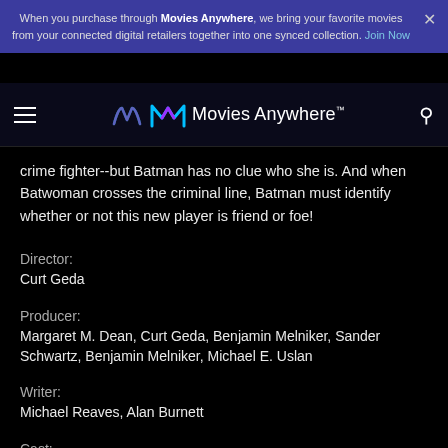When you purchase through Movies Anywhere, we bring your favorite movies from your connected digital retailers together into one synced collection. Join Now
[Figure (logo): Movies Anywhere navigation bar with hamburger menu, Movies Anywhere logo, and search icon]
crime fighter--but Batman has no clue who she is. And when Batwoman crosses the criminal line, Batman must identify whether or not this new player is friend or foe!
Director:
Curt Geda
Producer:
Margaret M. Dean, Curt Geda, Benjamin Melniker, Sander Schwartz, Benjamin Melniker, Michael E. Uslan
Writer:
Michael Reaves, Alan Burnett
Cast:
Hector Elizondo, Kelly Ripa, Kevin Conroy, Kyra Sedgwick, Kimberly Brooks, Elisa Gabrielli, David Ogden Stiers, Kevin Michael Richardson, John Vernon, Efrem Zimbalist Jr., Eli Marienthal, Tara Strong, Bob Hastings, Robert